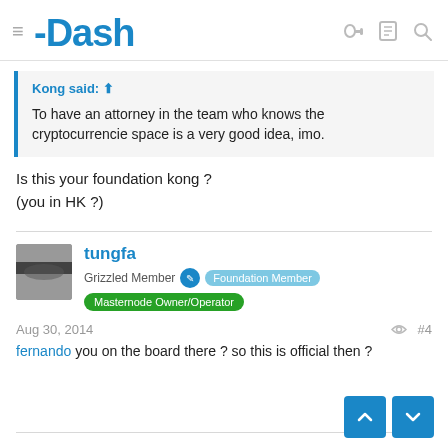Dash
Kong said: ↑
To have an attorney in the team who knows the cryptocurrencie space is a very good idea, imo.
Is this your foundation kong ?
(you in HK ?)
tungfa
Grizzled Member  Foundation Member
Masternode Owner/Operator
Aug 30, 2014  #4
fernando you on the board there ? so this is official then ?